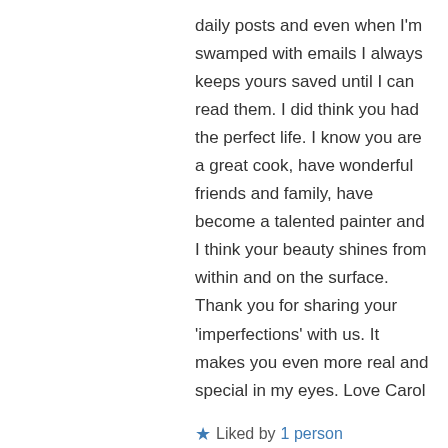daily posts and even when I'm swamped with emails I always keeps yours saved until I can read them. I did think you had the perfect life. I know you are a great cook, have wonderful friends and family, have become a talented painter and I think your beauty shines from within and on the surface. Thank you for sharing your 'imperfections' with us. It makes you even more real and special in my eyes. Love Carol
★ Liked by 1 person
↳ Reply
Jodi on January 5, 2017 at 8:55 am
Oh Carol – what a lovely compliment this is